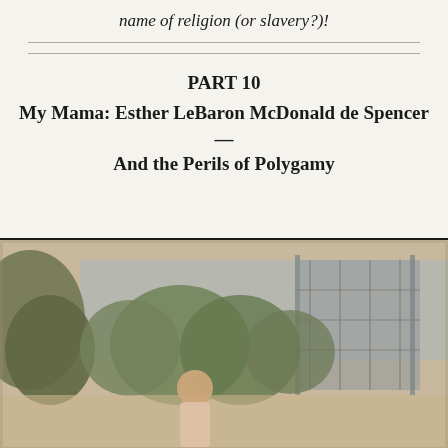name of religion (or slavery?)!
PART 10
My Mama: Esther LeBaron McDonald de Spencer — And the Perils of Polygamy
[Figure (photo): Vintage photograph of a woman standing outdoors in front of trees and a building with scaffolding or metal structure, warm sepia/faded color tones.]